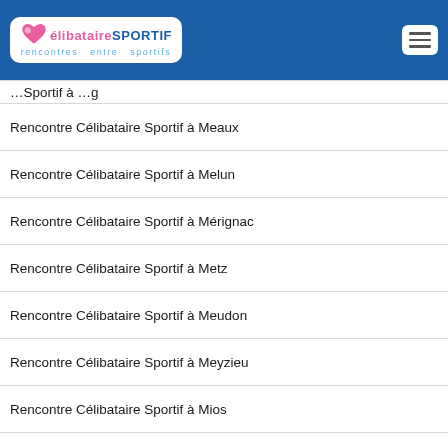CélibataireSPORTIF — rencontres entre sportifs
Rencontre Célibataire Sportif à Meaux
Rencontre Célibataire Sportif à Melun
Rencontre Célibataire Sportif à Mérignac
Rencontre Célibataire Sportif à Metz
Rencontre Célibataire Sportif à Meudon
Rencontre Célibataire Sportif à Meyzieu
Rencontre Célibataire Sportif à Mios
Rencontre Célibataire Sportif à Mondeville
Rencontre Célibataire Sportif à Mont-de-Marsan